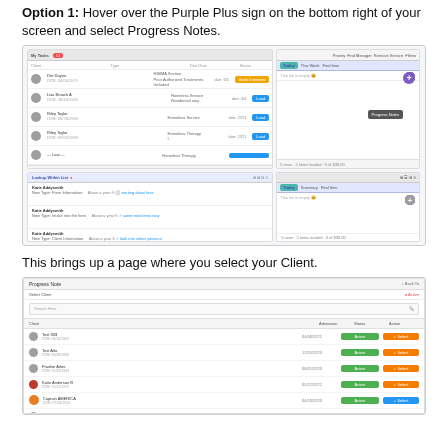Option 1: Hover over the Purple Plus sign on the bottom right of your screen and select Progress Notes.
[Figure (screenshot): Screenshot of a medical practice management software interface showing a task/appointment list with client names, task types, due dates, and status buttons (orange 'Book Interview' and blue 'Load' buttons). On the right side, a panel shows a purple plus button menu with 'Progress Notes' option highlighted by a red arrow and tooltip.]
This brings up a page where you select your Client.
[Figure (screenshot): Screenshot of a 'Progress Note' page with 'Select Client' section showing a list of clients (Test 333, Test Arlo, Frankie Arleo, Katie Anderson B, Captain AMERICA, Andraki Kay Terr) with their DOB, admission dates, Active status (green buttons), and orange/blue 'Select' action buttons. A red arrow points to 'Captain AMERICA' row's Select button.]